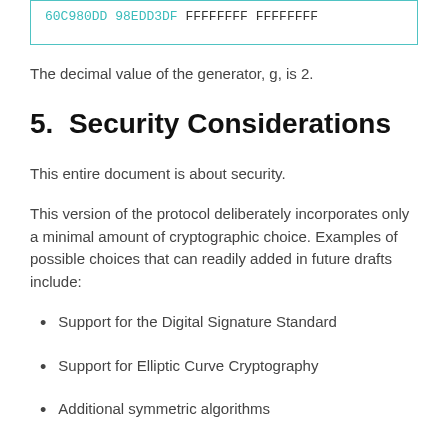[Figure (screenshot): Code box with hex values: '60C980DD 98EDD3DF FFFFFFFF FFFFFFFF' displayed in teal/black monospace font within a teal-bordered box]
The decimal value of the generator, g, is 2.
5. Security Considerations
This entire document is about security.
This version of the protocol deliberately incorporates only a minimal amount of cryptographic choice. Examples of possible choices that can readily added in future drafts include:
Support for the Digital Signature Standard
Support for Elliptic Curve Cryptography
Additional symmetric algorithms